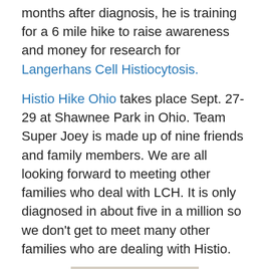months after diagnosis, he is training for a 6 mile hike to raise awareness and money for research for Langerhans Cell Histiocytosis.
Histio Hike Ohio takes place Sept. 27-29 at Shawnee Park in Ohio. Team Super Joey is made up of nine friends and family members. We are all looking forward to meeting other families who deal with LCH. It is only diagnosed in about five in a million so we don't get to meet many other families who are dealing with Histio.
[Figure (photo): A young boy with blonde hair wearing a blue 'Team Super Joey' t-shirt, standing indoors with a bookcase and TV visible in the background.]